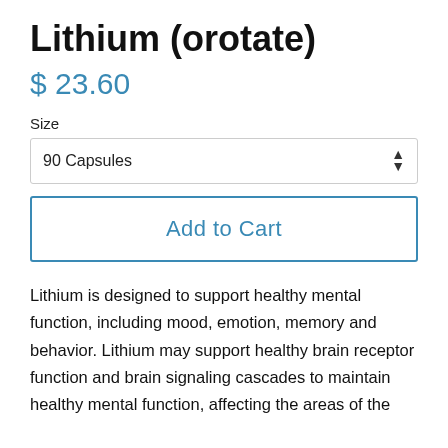Lithium (orotate)
$ 23.60
Size
90 Capsules
Add to Cart
Lithium is designed to support healthy mental function, including mood, emotion, memory and behavior. Lithium may support healthy brain receptor function and brain signaling cascades to maintain healthy mental function, affecting the areas of the...